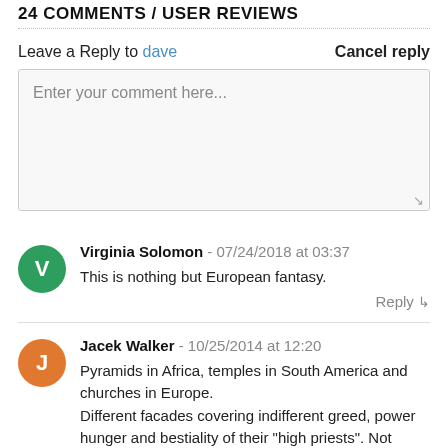24 COMMENTS / USER REVIEWS
Leave a Reply to dave   Cancel reply
Enter your comment here...
Virginia Solomon - 07/24/2018 at 03:37
This is nothing but European fantasy.
Reply
Jacek Walker - 10/25/2014 at 12:20
Pyramids in Africa, temples in South America and churches in Europe.
Different facades covering indifferent greed, power hunger and bestiality of their "high priests". Not matter when, no matter where.